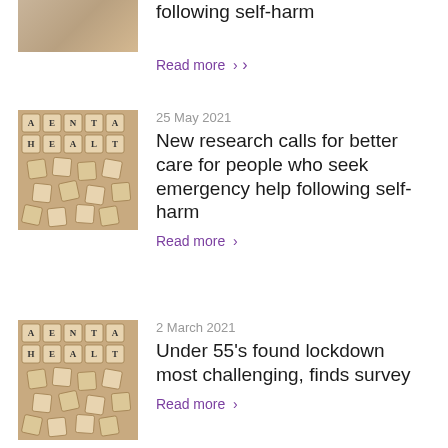[Figure (photo): Partial image of scrabble tiles spelling MENTAL HEALTH at top of page]
NICE recommended care following self-harm
Read more ›
[Figure (photo): Scrabble tiles arranged to spell MENTAL HEALTH]
25 May 2021
New research calls for better care for people who seek emergency help following self-harm
Read more ›
[Figure (photo): Scrabble tiles arranged to spell MENTAL HEALTH]
2 March 2021
Under 55's found lockdown most challenging, finds survey
Read more ›